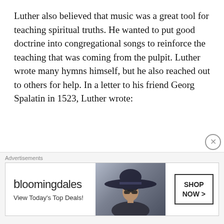Luther also believed that music was a great tool for teaching spiritual truths. He wanted to put good doctrine into congregational songs to reinforce the teaching that was coming from the pulpit. Luther wrote many hymns himself, but he also reached out to others for help. In a letter to his friend Georg Spalatin in 1523, Luther wrote:
Our plan is to follow the example of the prophets and the ancient fathers of the church and to compose songs for the people in the vernacular, that is: spiritual songs so the Word
Advertisements
[Figure (other): Bloomingdale's advertisement banner with logo, 'View Today's Top Deals!' tagline, woman wearing a wide-brim hat, and 'SHOP NOW >' button]